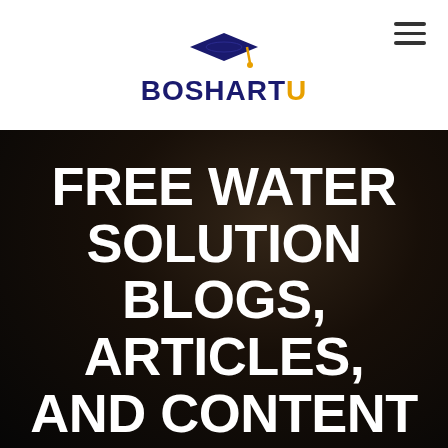[Figure (logo): BoshartU logo with graduation cap icon above the text BOSHARTU in dark navy and gold]
FREE WATER SOLUTION BLOGS, ARTICLES, AND CONTENT
At BoshartU, we offer FREE content that will educate